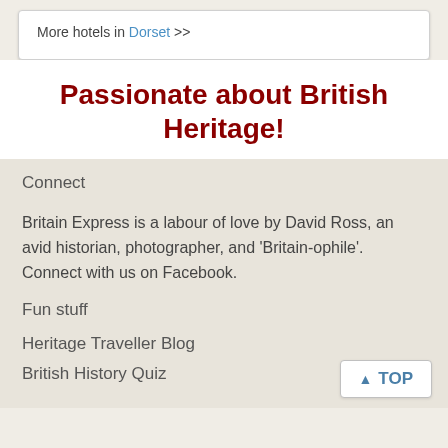More hotels in Dorset >>
Passionate about British Heritage!
Connect
Britain Express is a labour of love by David Ross, an avid historian, photographer, and 'Britain-ophile'. Connect with us on Facebook.
Fun stuff
Heritage Traveller Blog
British History Quiz